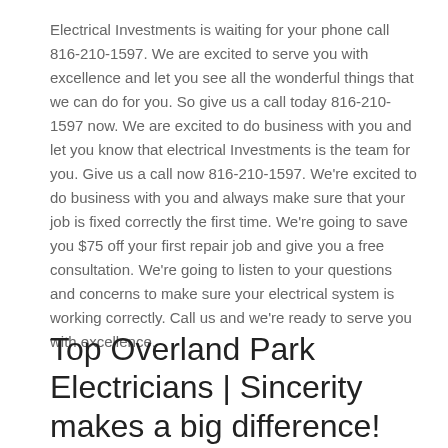Electrical Investments is waiting for your phone call 816-210-1597. We are excited to serve you with excellence and let you see all the wonderful things that we can do for you. So give us a call today 816-210-1597 now. We are excited to do business with you and let you know that electrical Investments is the team for you. Give us a call now 816-210-1597. We're excited to do business with you and always make sure that your job is fixed correctly the first time. We're going to save you $75 off your first repair job and give you a free consultation. We're going to listen to your questions and concerns to make sure your electrical system is working correctly. Call us and we're ready to serve you with excellence.
Top Overland Park Electricians | Sincerity makes a big difference!